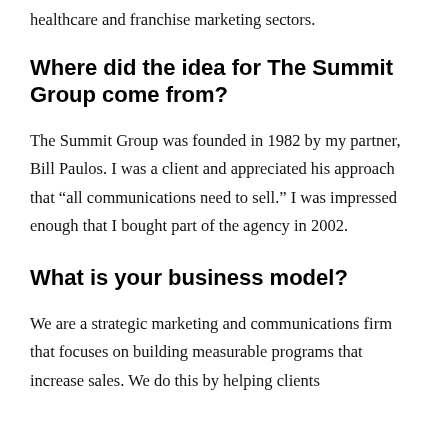healthcare and franchise marketing sectors.
Where did the idea for The Summit Group come from?
The Summit Group was founded in 1982 by my partner, Bill Paulos. I was a client and appreciated his approach that “all communications need to sell.” I was impressed enough that I bought part of the agency in 2002.
What is your business model?
We are a strategic marketing and communications firm that focuses on building measurable programs that increase sales. We do this by helping clients